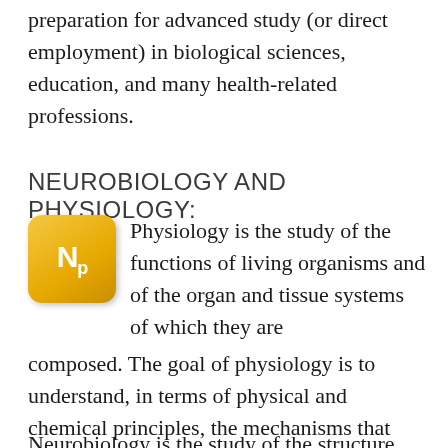preparation for advanced study (or direct employment) in biological sciences, education, and many health-related professions.
NEUROBIOLOGY AND PHYSIOLOGY:
[Figure (logo): Yellow square icon with rounded corners showing 'Np' text in white, representing Neurobiology and Physiology]
Physiology is the study of the functions of living organisms and of the organ and tissue systems of which they are composed. The goal of physiology is to understand, in terms of physical and chemical principles, the mechanisms that operate in living organisms from the subcellular level to the level of the whole animal, with an emphasis on how these mechanisms are integrated to produce a viable organism.
Neurobiology is the study of the structure, function...